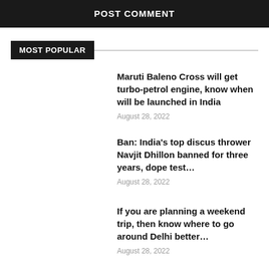POST COMMENT
MOST POPULAR
Maruti Baleno Cross will get turbo-petrol engine, know when will be launched in India
August 28, 2022
Ban: India's top discus thrower Navjit Dhillon banned for three years, dope test…
August 28, 2022
If you are planning a weekend trip, then know where to go around Delhi better…
August 28, 2022